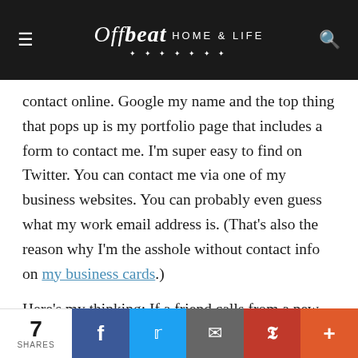Offbeat HOME & LIFE
contact online. Google my name and the top thing that pops up is my portfolio page that includes a form to contact me. I'm super easy to find on Twitter. You can contact me via one of my business websites. You can probably even guess what my work email address is. (That's also the reason why I'm the asshole without contact info on my business cards.)
Here's my thinking: If a friend calls from a new number and can't get through, they have my email address. If you want to talk business, and you're cold-calling me, you're probably not the kind of person I want to do business
7 SHARES  [Facebook] [Twitter] [Email] [Pinterest] [More]